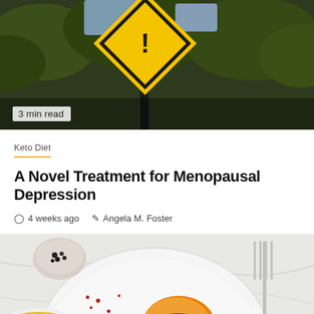[Figure (photo): Yellow and black diamond warning road sign against a dark green tree background]
3 min read
Keto Diet
A Novel Treatment for Menopausal Depression
4 weeks ago   Angela M. Foster
[Figure (photo): Overhead shot of a grilled peach and green salad on a white plate, with white cheese cubes and walnuts, alongside a cup of yellow dressing and a silver fork on a white marble surface]